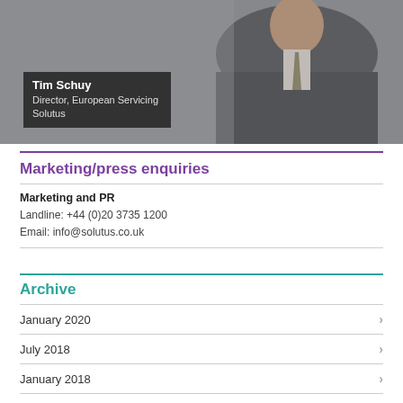[Figure (photo): Photo of Tim Schuy, Director, European Servicing Solutus, wearing a dark suit with a tie, with a caption overlay showing his name and title.]
Marketing/press enquiries
Marketing and PR
Landline: +44 (0)20 3735 1200
Email: info@solutus.co.uk
Archive
January 2020
July 2018
January 2018
July 2017
April 2017